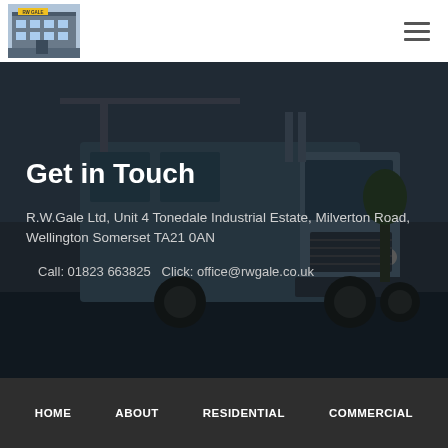[Figure (logo): R.W.Gale Ltd company logo showing a building with yellow sign]
[Figure (other): Hamburger menu icon (three horizontal lines) in top right]
[Figure (photo): Background photo of a dark blue heavy truck/lorry in a car park with overcast sky]
Get in Touch
R.W.Gale Ltd, Unit 4 Tonedale Industrial Estate, Milverton Road, Wellington Somerset TA21 0AN
Call: 01823 663825   Click: office@rwgale.co.uk
HOME   ABOUT   RESIDENTIAL   COMMERCIAL